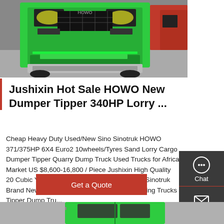[Figure (photo): Front view of a green HOWO dumper/tipper truck at an exhibition or showroom]
Jushixin Hot Sale HOWO New Dumper Tipper 340HP Lorry ...
Cheap Heavy Duty Used/New Sino Sinotruk HOWO 371/375HP 6X4 Euro2 10wheels/Tyres Sand Lorry Cargo Dumper Tipper Quarry Dump Truck Used Trucks for Africa Market US $8,600-16,800 / Piece Jushixin High Quality 20 Cubic Yards 15m3 Foton Shacman HOWO Sinotruk Brand New/Used Trucks Dumper Mining Dumping Trucks Tipper Dump Tru...
[Figure (infographic): Sidebar with Chat, Email, Contact, and Top navigation icons on dark background]
[Figure (photo): Bottom partial view of a green truck cab/door area]